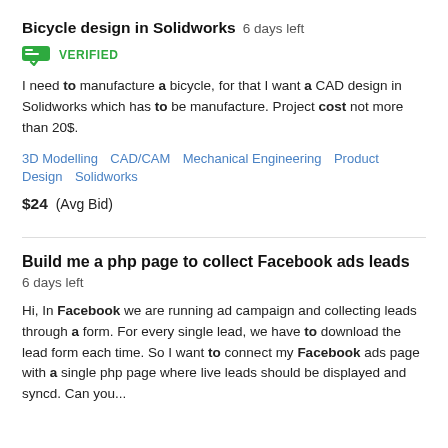Bicycle design in Solidworks  6 days left
[Figure (infographic): Green verified badge icon with checkmark and text VERIFIED]
I need to manufacture a bicycle, for that I want a CAD design in Solidworks which has to be manufacture. Project cost not more than 20$.
3D Modelling   CAD/CAM   Mechanical Engineering   Product Design   Solidworks
$24  (Avg Bid)
Build me a php page to collect Facebook ads leads  6 days left
Hi, In Facebook we are running ad campaign and collecting leads through a form. For every single lead, we have to download the lead form each time. So I want to connect my Facebook ads page with a single php page where live leads should be displayed and syncd. Can you...